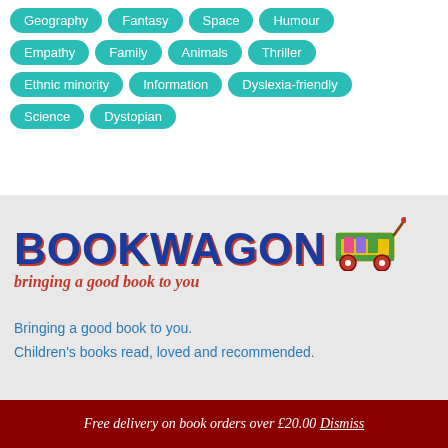Geography
Fantasy
Space
Humour
Empathy
Family
Animals
Thriller
Ethnic minority
Information
Dyslexia-friendly
Science
Dystopian
[Figure (logo): Bookwagon logo with colourful wagon illustration and tagline 'bringing a good book to you']
Bringing a good book to you.
Children's books read, loved and recommended.
Free delivery on book orders over £20.00 Dismiss